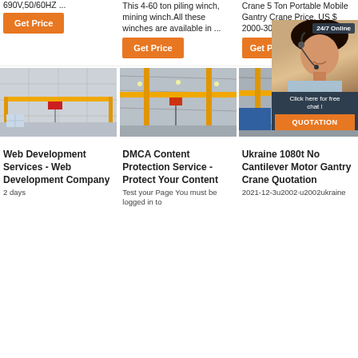690V,50/60HZ ...
This 4-60 ton piling winch, mining winch.All these winches are available in ...
Crane 5 Ton Portable Mobile Gantry Crane Price. US $ 2000-3000 ...
[Figure (screenshot): Orange 'Get Price' button]
[Figure (screenshot): Orange 'Get Price' button]
[Figure (screenshot): Orange 'Get P...' button partially visible, with 24/7 Online chat overlay showing a woman with headset]
[Figure (photo): Industrial warehouse interior with yellow overhead crane bridge]
[Figure (photo): Factory interior with yellow overhead crane]
[Figure (photo): Industrial factory interior with yellow crane and machinery, partially covered by chat overlay]
Web Development Services - Web Development Company
2 days
DMCA Content Protection Service - Protect Your Content
Test your Page You must be logged in to
Ukraine 1080t No Cantilever Motor Gantry Crane Quotation
2021-12-3u2002·u2002ukraine